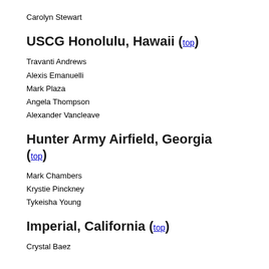Carolyn Stewart
USCG Honolulu, Hawaii (top)
Travanti Andrews
Alexis Emanuelli
Mark Plaza
Angela Thompson
Alexander Vancleave
Hunter Army Airfield, Georgia (top)
Mark Chambers
Krystie Pinckney
Tykeisha Young
Imperial, California (top)
Crystal Baez